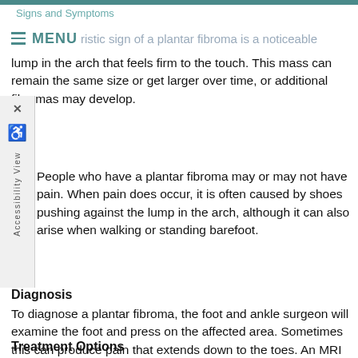Signs and Symptoms
≡ MENU ristic sign of a plantar fibroma is a noticeable
lump in the arch that feels firm to the touch. This mass can remain the same size or get larger over time, or additional fibromas may develop.
People who have a plantar fibroma may or may not have pain. When pain does occur, it is often caused by shoes pushing against the lump in the arch, although it can also arise when walking or standing barefoot.
Diagnosis
To diagnose a plantar fibroma, the foot and ankle surgeon will examine the foot and press on the affected area. Sometimes this can produce pain that extends down to the toes. An MRI or biopsy may be performed to further evaluate the lump and aid in diagnosis.
Treatment Options